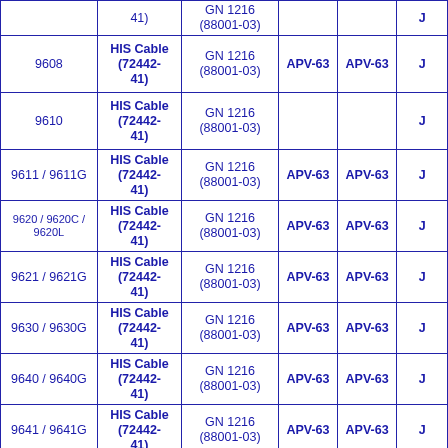| Model | Cable | Standard | Col4 | Col5 | Col6 |
| --- | --- | --- | --- | --- | --- |
|  | 41) | GN 1216 (88001-03) |  |  | J |
| 9608 | HIS Cable (72442-41) | GN 1216 (88001-03) | APV-63 | APV-63 | J |
| 9610 | HIS Cable (72442-41) | GN 1216 (88001-03) |  |  | J |
| 9611 / 9611G | HIS Cable (72442-41) | GN 1216 (88001-03) | APV-63 | APV-63 | J |
| 9620 / 9620C / 9620L | HIS Cable (72442-41) | GN 1216 (88001-03) | APV-63 | APV-63 | J |
| 9621 / 9621G | HIS Cable (72442-41) | GN 1216 (88001-03) | APV-63 | APV-63 | J |
| 9630 / 9630G | HIS Cable (72442-41) | GN 1216 (88001-03) | APV-63 | APV-63 | J |
| 9640 / 9640G | HIS Cable (72442-41) | GN 1216 (88001-03) | APV-63 | APV-63 | J |
| 9641 / 9641G | HIS Cable (72442-41) | GN 1216 (88001-03) | APV-63 | APV-63 | J |
|  | HIS Cable |  |  |  |  |